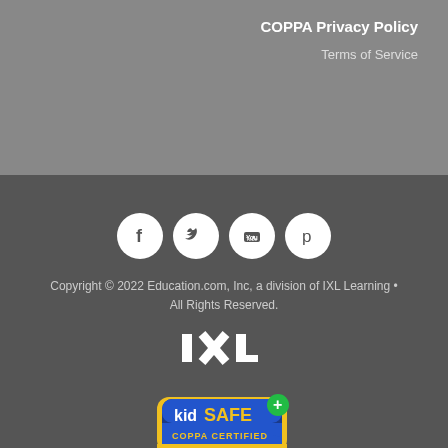COPPA Privacy Policy
Terms of Service
[Figure (illustration): Four social media icons in white circles: Facebook, Twitter, YouTube, Pinterest]
Copyright © 2022 Education.com, Inc, a division of IXL Learning • All Rights Reserved.
[Figure (logo): IXL logo in white text]
[Figure (logo): kidSAFE+ COPPA CERTIFIED badge/seal]